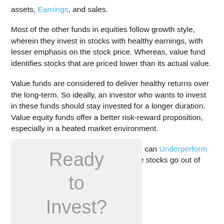assets, Earnings, and sales.
Most of the other funds in equities follow growth style, wherein they invest in stocks with healthy earnings, with lesser emphasis on the stock price. Whereas, value fund identifies stocks that are priced lower than its actual value.
Value funds are considered to deliver healthy returns over the long-term. So ideally, an investor who wants to invest in these funds should stay invested for a longer duration. Value equity funds offer a better risk-reward proposition, especially in a heated market environment.
But, one should know that these funds can Underperform during a bull market phase when value stocks go out of favor.
[Figure (other): Call-to-action box with text 'Ready to Invest?' on a light gray background]